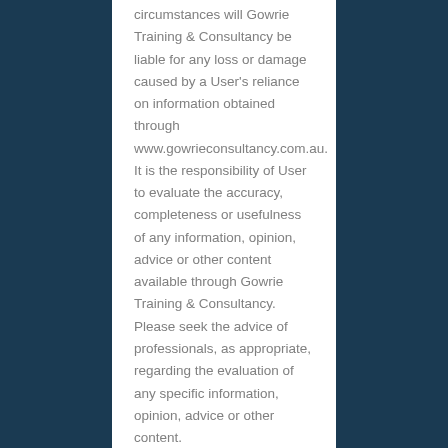circumstances will Gowrie Training & Consultancy be liable for any loss or damage caused by a User's reliance on information obtained through www.gowrieconsultancy.com.au. It is the responsibility of User to evaluate the accuracy, completeness or usefulness of any information, opinion, advice or other content available through Gowrie Training & Consultancy. Please seek the advice of professionals, as appropriate, regarding the evaluation of any specific information, opinion, advice or other content.
12. MONITORING
Gowrie Training & Consultancy shall have the right but not the obligation...